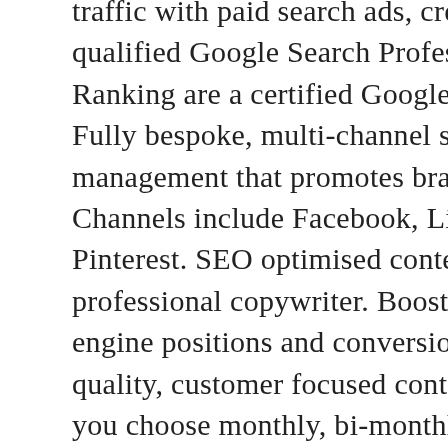traffic with paid search ads, created by fully qualified Google Search Professionals. 123 Ranking are a certified Google Ads Partner. Fully bespoke, multi-channel social media management that promotes brand-awareness. Channels include Facebook, LinkedIn, Twitter Pinterest. SEO optimised content created by a professional copywriter. Boost your search engine positions and conversions with high-quality, customer focused content. Whether you choose monthly, bi-monthly or quarterly blogs, our fully researched posts will keep your visitors engaged whilst demonstrating your industry expertise. Grab your visitors attention provide information quickly with high quality promotional videos that promote your brand, products or services.